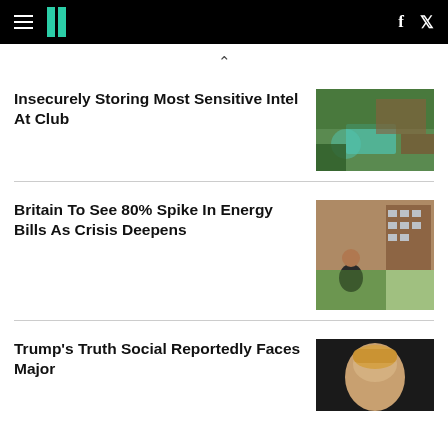HuffPost navigation header with logo, hamburger menu, Facebook and Twitter icons
Insecurely Storing Most Sensitive Intel At Club
[Figure (photo): Aerial view of a large estate with a pool and lush green trees, likely Mar-a-Lago]
Britain To See 80% Spike In Energy Bills As Crisis Deepens
[Figure (photo): A woman leaning against a brick wall outside a housing block, looking concerned]
Trump's Truth Social Reportedly Faces Major
[Figure (photo): Close-up portrait of Donald Trump with blurred dark background]